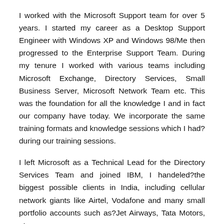I worked with the Microsoft Support team for over 5 years. I started my career as a Desktop Support Engineer with Windows XP and Windows 98/Me then progressed to the Enterprise Support Team. During my tenure I worked with various teams including Microsoft Exchange, Directory Services, Small Business Server, Microsoft Network Team etc. This was the foundation for all the knowledge I and in fact our company have today. We incorporate the same training formats and knowledge sessions which I had?during our training sessions.
I left Microsoft as a Technical Lead for the Directory Services Team and joined IBM, I handeled?the biggest possible clients in India, including cellular network giants like Airtel, Vodafone and many small portfolio accounts such as?Jet Airways, Tata Motors, etc.